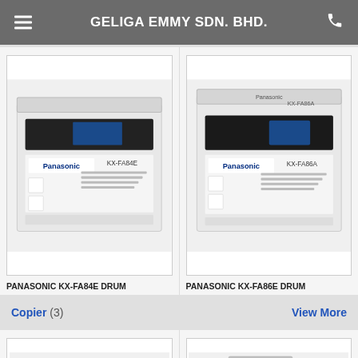GELIGA EMMY SDN. BHD.
[Figure (photo): Panasonic KX-FA84E Drum unit product box, white/blue packaging]
PANASONIC KX-FA84E DRUM
[Figure (photo): Panasonic KX-FA86A Drum unit product box, white/blue packaging]
PANASONIC KX-FA86E DRUM
Copier (3)
View More
[Figure (photo): Samsung multifunction color copier printer with colorful paper strips, WhatsApp icon overlay]
[Figure (photo): White floor-standing multifunction copier machine]